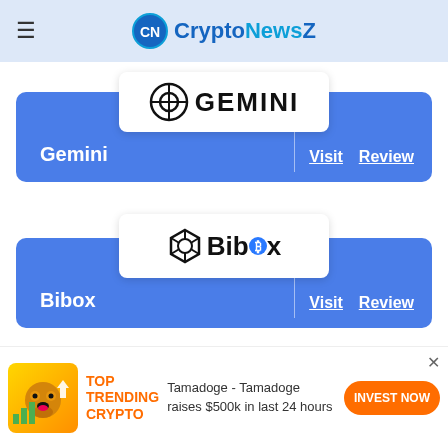CryptoNewsZ
[Figure (logo): Gemini exchange logo with symbol and wordmark on white rounded card]
Gemini | Visit Review
[Figure (logo): Bibox exchange logo with atom symbol and wordmark on white rounded card]
Bibox | Visit Review
Top Crypto Lending Platform
[Figure (illustration): Advertisement banner: Tamadoge dog mascot with rising bar chart coins on gold background; TOP TRENDING CRYPTO label in orange; text: Tamadoge - Tamadoge raises $500k in last 24 hours; INVEST NOW orange button]